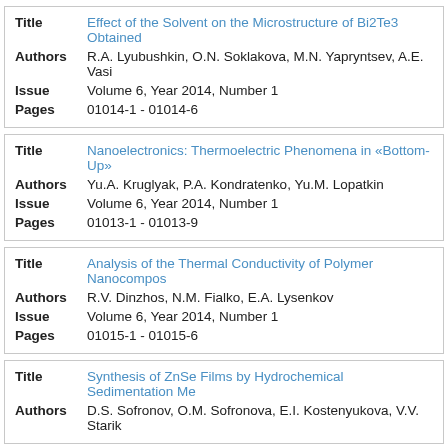| Field | Value |
| --- | --- |
| Title | Effect of the Solvent on the Microstructure of Bi2Te3 Obtained |
| Authors | R.A. Lyubushkin, O.N. Soklakova, M.N. Yapryntsev, A.E. Vasi |
| Issue | Volume 6, Year 2014, Number 1 |
| Pages | 01014-1 - 01014-6 |
| Field | Value |
| --- | --- |
| Title | Nanoelectronics: Thermoelectric Phenomena in «Bottom-Up» |
| Authors | Yu.A. Kruglyak, P.A. Kondratenko, Yu.M. Lopatkin |
| Issue | Volume 6, Year 2014, Number 1 |
| Pages | 01013-1 - 01013-9 |
| Field | Value |
| --- | --- |
| Title | Analysis of the Thermal Conductivity of Polymer Nanocompos |
| Authors | R.V. Dinzhos, N.M. Fialko, E.A. Lysenkov |
| Issue | Volume 6, Year 2014, Number 1 |
| Pages | 01015-1 - 01015-6 |
| Field | Value |
| --- | --- |
| Title | Synthesis of ZnSe Films by Hydrochemical Sedimentation Me |
| Authors | D.S. Sofronov, O.M. Sofronova, E.I. Kostenyukova, V.V. Starik |